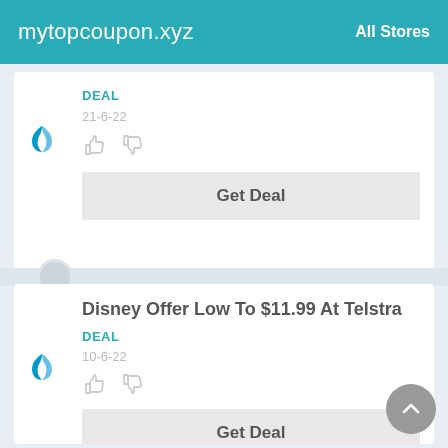mytopcoupon.xyz  All Stores
DEAL
21-6-22
Get Deal
Disney Offer Low To $11.99 At Telstra
DEAL
10-6-22
Get Deal